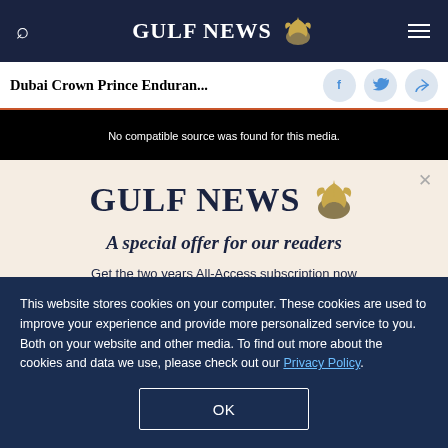GULF NEWS
Dubai Crown Prince Enduran...
[Figure (screenshot): Video player area showing error message: No compatible source was found for this media.]
[Figure (screenshot): Gulf News subscription popup overlay with logo and text: A special offer for our readers. Get the two years All-Access subscription now]
This website stores cookies on your computer. These cookies are used to improve your experience and provide more personalized service to you. Both on your website and other media. To find out more about the cookies and data we use, please check out our Privacy Policy.
OK